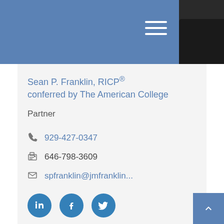[Figure (screenshot): Blue header bar with hamburger menu icon]
[Figure (photo): Partial photo of person in dark clothing at top right]
Sean P. Franklin, RICP® conferred by The American College
Partner
929-427-0347
646-798-3609
spfranklin@jmfranklin...
[Figure (screenshot): Social media icons: LinkedIn, Facebook, Twitter]
[Figure (photo): Headshot photo of Sean P. Franklin, man with brown hair]
[Figure (screenshot): Blue back-to-top button with up arrow at bottom right]